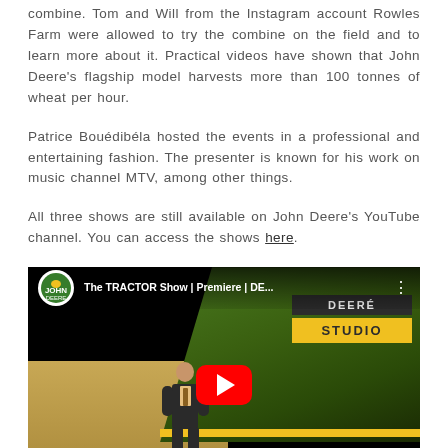combine. Tom and Will from the Instagram account Rowles Farm were allowed to try the combine on the field and to learn more about it. Practical videos have shown that John Deere's flagship model harvests more than 100 tonnes of wheat per hour.
Patrice Bouédibéla hosted the events in a professional and entertaining fashion. The presenter is known for his work on music channel MTV, among other things.
All three shows are still available on John Deere's YouTube channel. You can access the shows here.
[Figure (screenshot): YouTube video thumbnail for 'The TRACTOR Show | Premiere | DE...' by John Deere, showing a presenter in front of a green John Deere combine harvester, with 'DEERE STUDIO' branding in the top right, a red YouTube play button in the center, and 'THE TRACTOR SHOW' text at the bottom.]